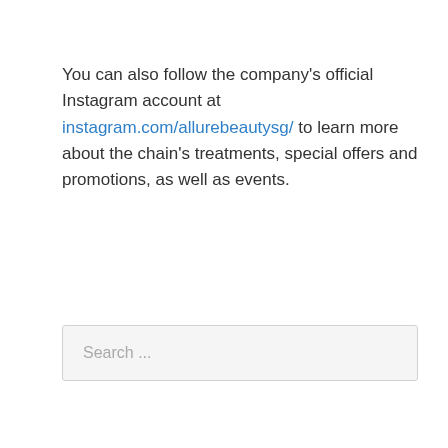You can also follow the company's official Instagram account at instagram.com/allurebeautysg/ to learn more about the chain's treatments, special offers and promotions, as well as events.
Search ...